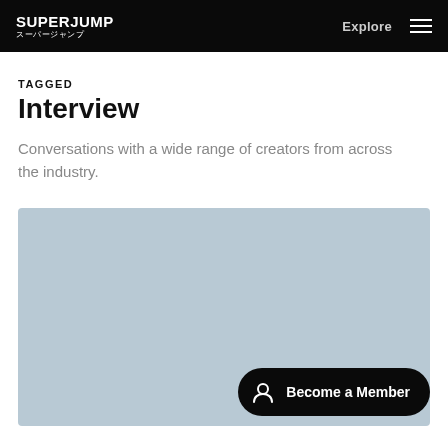SUPERJUMP スーパージャンプ | Explore
TAGGED
Interview
Conversations with a wide range of creators from across the industry.
[Figure (illustration): Light blue-grey placeholder image block with a 'Become a Member' button overlaid at the bottom right]
Become a Member